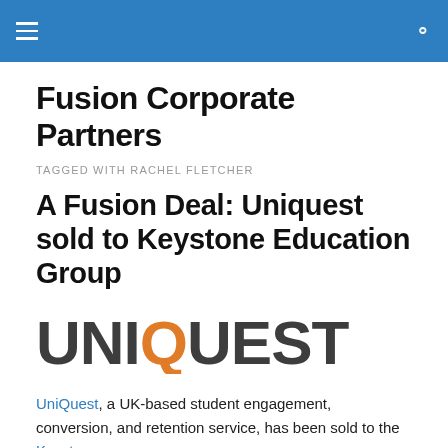Fusion Corporate Partners
Fusion Corporate Partners
TAGGED WITH RACHEL FLETCHER
A Fusion Deal: Uniquest sold to Keystone Education Group
[Figure (logo): UniQuest logo in dark grey and orange text]
UniQuest, a UK-based student engagement, conversion, and retention service, has been sold to the Keystone